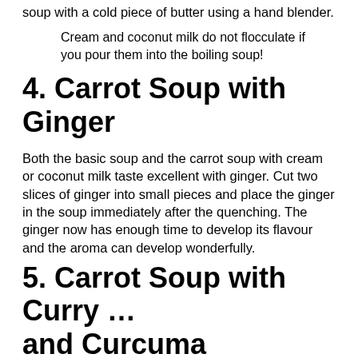soup with a cold piece of butter using a hand blender.
Cream and coconut milk do not flocculate if you pour them into the boiling soup!
4. Carrot Soup with Ginger
Both the basic soup and the carrot soup with cream or coconut milk taste excellent with ginger. Cut two slices of ginger into small pieces and place the ginger in the soup immediately after the quenching. The ginger now has enough time to develop its flavour and the aroma can develop wonderfully.
5. Carrot Soup with Curry … and Curcuma
For the carrot soup with curry I recommend the variant with coconut milk and ginger. These ingredients fit together great and harmonize perfectly. Add a little turmeric to the carrot soup. The turmeric is extremely healthy and supports digestion.
6. Recipe for Carrot S…